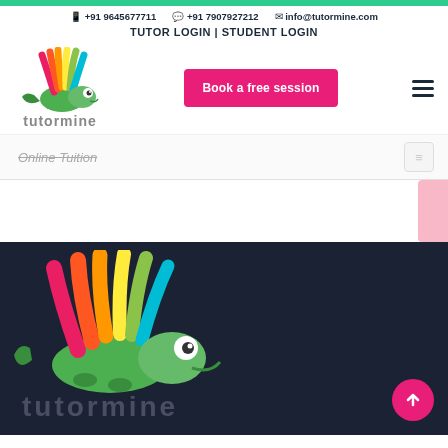+91 9645677711  +91 7907927212  info@tutormine.com
TUTOR LOGIN | STUDENT LOGIN
[Figure (logo): Tutormine chameleon logo with colorful spines and text 'tutormine' below]
Book a free session
Online Tuition
[Figure (logo): Tutormine chameleon logo large on dark navy background with text 'tutormine' below]
tutormine